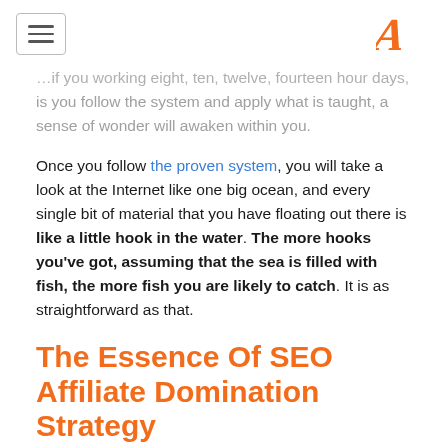[hamburger menu] [logo A]
...if you working eight, ten, twelve, fourteen hour days, is you follow the system and apply what is taught, a sense of wonder will awaken within you.
Once you follow the proven system, you will take a look at the Internet like one big ocean, and every single bit of material that you have floating out there is like a little hook in the water. The more hooks you've got, assuming that the sea is filled with fish, the more fish you are likely to catch. It is as straightforward as that.
The Essence Of SEO Affiliate Domination Strategy